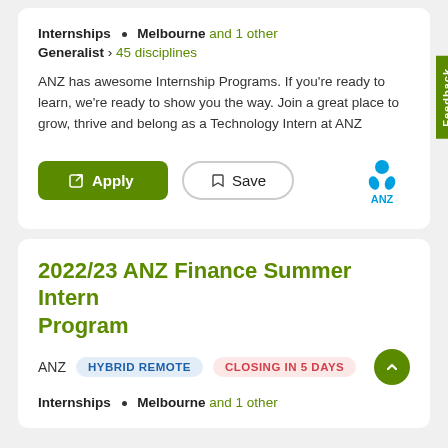Internships • Melbourne and 1 other
Generalist › 45 disciplines
ANZ has awesome Internship Programs. If you're ready to learn, we're ready to show you the way. Join a great place to grow, thrive and belong as a Technology Intern at ANZ
2022/23 ANZ Finance Summer Intern Program
ANZ  HYBRID REMOTE  CLOSING IN 5 DAYS
Internships • Melbourne and 1 other